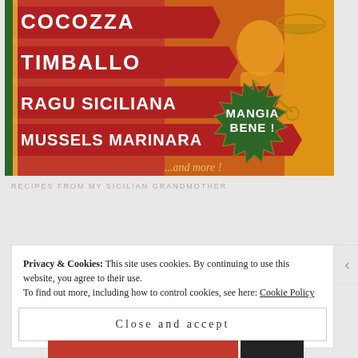[Figure (illustration): Book cover with Italian cookbook art: red ribbon banners listing COCOZZA, TIMBALLO, RAGU SICILIANA, MUSSELS MARINARA, ...and more! on an orange/red background with kitchen illustration and a green badge saying MANGIA BENE!]
RECIPES FROM MY SICILIAN GRANDMOTHER
Privacy & Cookies: This site uses cookies. By continuing to use this website, you agree to their use.
To find out more, including how to control cookies, see here: Cookie Policy
Close and accept